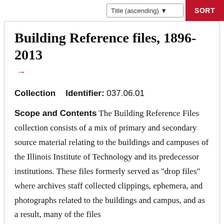Title (ascending) SORT
Building Reference files, 1896-2013
Collection    Identifier: 037.06.01
Scope and Contents The Building Reference Files collection consists of a mix of primary and secondary source material relating to the buildings and campuses of the Illinois Institute of Technology and its predecessor institutions. These files formerly served as "drop files" where archives staff collected clippings, ephemera, and photographs related to the buildings and campus, and as a result, many of the files